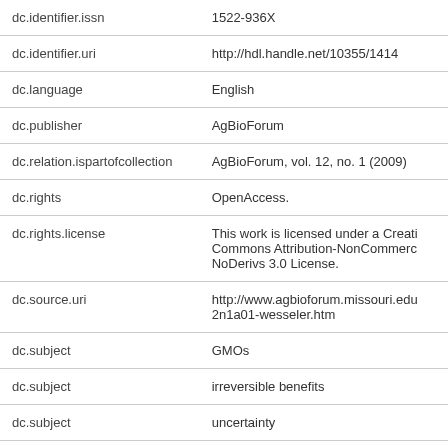| Field | Value |
| --- | --- |
| dc.identifier.issn | 1522-936X |
| dc.identifier.uri | http://hdl.handle.net/10355/1414 |
| dc.language | English |
| dc.publisher | AgBioForum |
| dc.relation.ispartofcollection | AgBioForum, vol. 12, no. 1 (2009) |
| dc.rights | OpenAccess. |
| dc.rights.license | This work is licensed under a Creative Commons Attribution-NonCommercial-NoDerivs 3.0 License. |
| dc.source.uri | http://www.agbioforum.missouri.edu/2n1a01-wesseler.htm |
| dc.subject | GMOs |
| dc.subject | irreversible benefits |
| dc.subject | uncertainty |